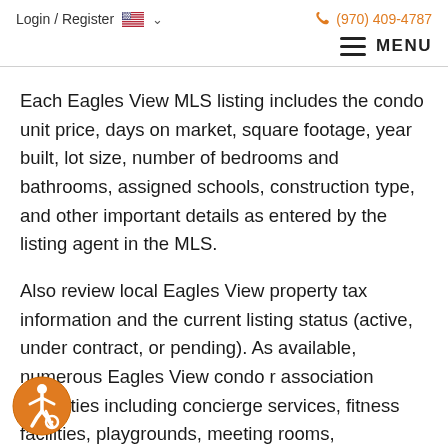Login / Register  🇺🇸 ∨   (970) 409-4787
≡ MENU
Each Eagles View MLS listing includes the condo unit price, days on market, square footage, year built, lot size, number of bedrooms and bathrooms, assigned schools, construction type, and other important details as entered by the listing agent in the MLS.
Also review local Eagles View property tax information and the current listing status (active, under contract, or pending). As available, numerous Eagles View condo r association amenities including concierge services, fitness facilities, playgrounds, meeting rooms,